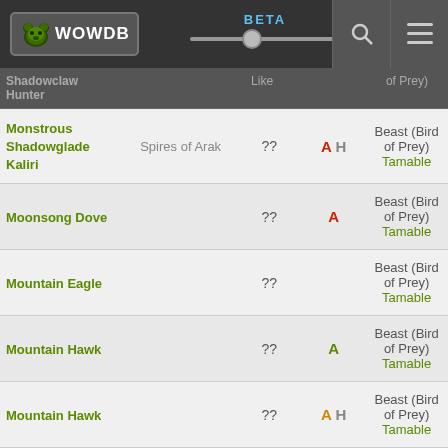WOWDB BETA
| NAME | ZONE | LEVEL | FACTION | TYPE |
| --- | --- | --- | --- | --- |
| Monstrous Shadowglade Kaliri | Spires of Arak | ?? | A H | Beast (Bird of Prey) Tamable |
| Moonsong Dove |  | ?? | A | Beast (Bird of Prey) Tamable |
| Mountain Eagle |  | ?? |  | Beast (Bird of Prey) Tamable |
| Mountain Hawk |  | ?? | A | Beast (Bird of Prey) Tamable |
| Mountain Hawk |  | ?? | A H | Beast (Bird of Prey) Tamable |
| Murderbeak |  | ?? Rare | A H | Beast (Bird of Prey) Tamable |
| NAME |  | ?? |  | Beast (Bird of Prey) |